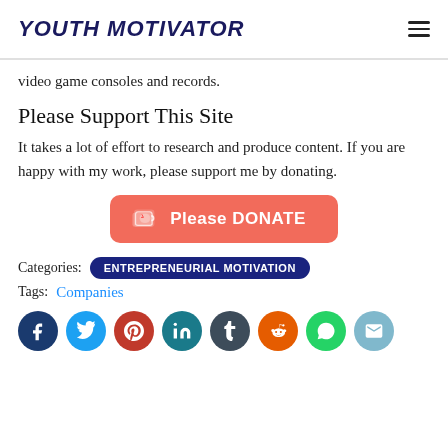YOUTH MOTIVATOR
video game consoles and records.
Please Support This Site
It takes a lot of effort to research and produce content. If you are happy with my work, please support me by donating.
[Figure (other): Red donate button with Ko-fi cup icon reading 'Please DONATE']
Categories: ENTREPRENEURIAL MOTIVATION
Tags: Companies
[Figure (other): Social media share buttons: Facebook, Twitter, Pinterest, LinkedIn, Tumblr, Reddit, WhatsApp, Email]